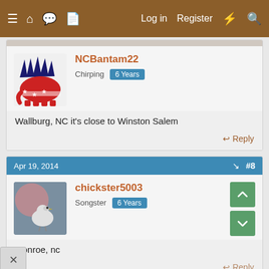≡  🏠  💬  📄    Log in   Register   ⚡   🔍
NCBantam22
Chirping  6 Years
Wallburg, NC it's close to Winston Salem
Apr 19, 2014  #8
chickster5003
Songster  6 Years
Monroe, nc
↩ Reply